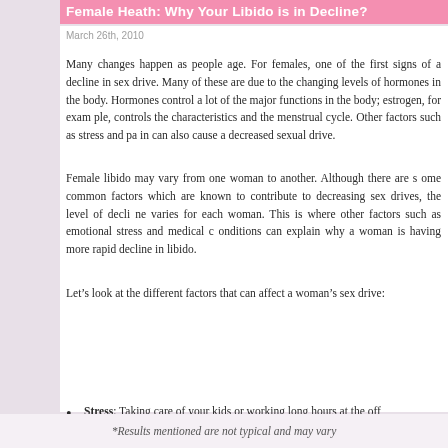Female Heath: Why Your Libido is in Decline?
March 26th, 2010
Many changes happen as people age. For females, one of the first signs of a decline in sex drive. Many of these are due to the changing levels of hormones in the body. Hormones control a lot of the major functions in the body; estrogen, for example, controls the characteristics and the menstrual cycle. Other factors such as stress and pain can also cause a decreased sexual drive.
Female libido may vary from one woman to another. Although there are some common factors which are known to contribute to decreasing sex drives, the level of decline varies for each woman. This is where other factors such as emotional stress and medical conditions can explain why a woman is having more rapid decline in libido.
Let’s look at the different factors that can affect a woman’s sex drive:
Age: One of the many changes a female experiences with aging involves changes specifically in their sexual organs. Decreased muscle mass, tissue and lubrication in the vagina causes soreness, irritation and itching. Decreased comfort and sensation, decreases pleasure which may lead to a loss in sexual desire or libido.
Stress: Taking care of your kids or working long hours at the off...
*Results mentioned are not typical and may vary